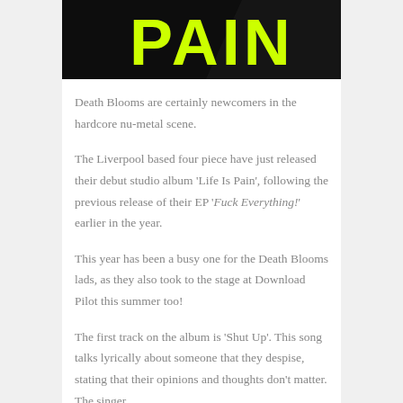[Figure (photo): Black background image with bold yellow/neon text reading 'PAIN', partial view of an album cover for 'Life Is Pain' by Death Blooms]
Death Blooms are certainly newcomers in the hardcore nu-metal scene.
The Liverpool based four piece have just released their debut studio album 'Life Is Pain', following the previous release of their EP 'Fuck Everything!' earlier in the year.
This year has been a busy one for the Death Blooms lads, as they also took to the stage at Download Pilot this summer too!
The first track on the album is 'Shut Up'. This song talks lyrically about someone that they despise, stating that their opinions and thoughts don't matter. The singer...